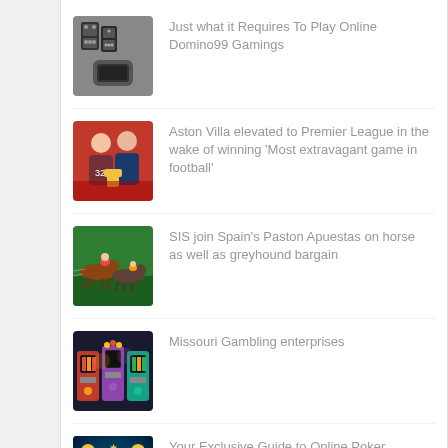Just what it Requires To Play Online Domino99 Gamings
Aston Villa elevated to Premier League in the wake of winning 'Most extravagant game in football'
SIS join Spain’s Paston Apuestas on horse as well as greyhound bargain
Missouri Gambling enterprises
Your Exclusive Guide to Online Poker Bonuses